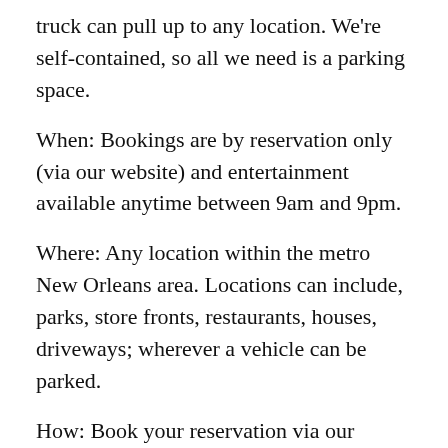truck can pull up to any location. We're self-contained, so all we need is a parking space.
When: Bookings are by reservation only (via our website) and entertainment available anytime between 9am and 9pm.
Where: Any location within the metro New Orleans area. Locations can include, parks, store fronts, restaurants, houses, driveways; wherever a vehicle can be parked.
How: Book your reservation via our website @ http://www.noladjtruck.com or on IG @noladjtruck :|: select the entertainment you'd like and we roll from there, literally! We're reaching out to local performers, so if there's a artist you'd like, let us know and we'll see what magic we can make happen (additional content also applies). Never to loud...